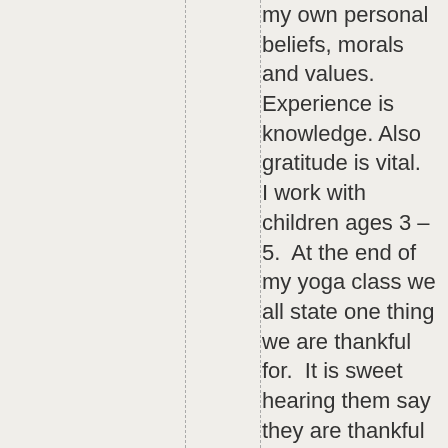my own personal beliefs, morals and values. Experience is knowledge. Also gratitude is vital.  I work with children ages 3 – 5.  At the end of my yoga class we all state one thing we are thankful for.  It is sweet hearing them say they are thankful for a toy, their family or a pet.  Gratitude is appreciation for what one has in the moment.